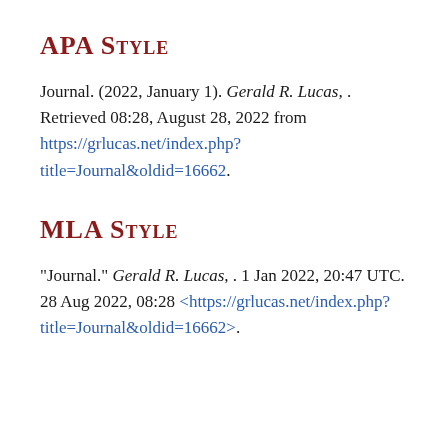APA Style
Journal. (2022, January 1). Gerald R. Lucas, . Retrieved 08:28, August 28, 2022 from https://grlucas.net/index.php?title=Journal&oldid=16662.
MLA Style
"Journal." Gerald R. Lucas, . 1 Jan 2022, 20:47 UTC. 28 Aug 2022, 08:28 <https://grlucas.net/index.php?title=Journal&oldid=16662>.